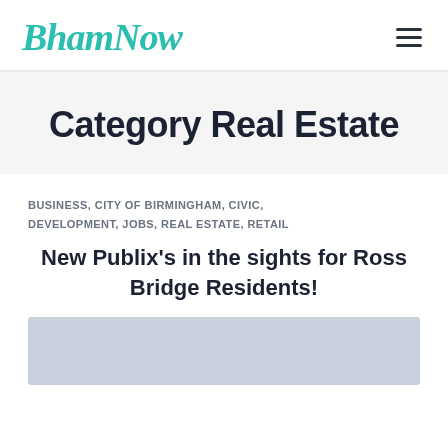BhamNow
Category Real Estate
BUSINESS, CITY OF BIRMINGHAM, CIVIC, DEVELOPMENT, JOBS, REAL ESTATE, RETAIL
New Publix's in the sights for Ross Bridge Residents!
[Figure (photo): Light blue/grey placeholder image for article thumbnail]